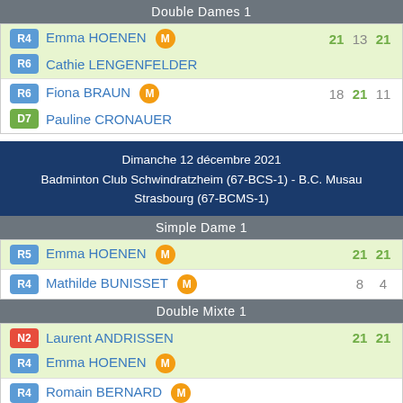Double Dames 1
| Rank | Player | Scores |
| --- | --- | --- |
| R4 | Emma HOENEN M | 21 13 21 |
| R6 | Cathie LENGENFELDER |  |
| R6 | Fiona BRAUN M | 18 21 11 |
| D7 | Pauline CRONAUER |  |
Dimanche 12 décembre 2021
Badminton Club Schwindratzheim (67-BCS-1) - B.C. Musau Strasbourg (67-BCMS-1)
Simple Dame 1
| Rank | Player | Scores |
| --- | --- | --- |
| R5 | Emma HOENEN M | 21 21 |
| R4 | Mathilde BUNISSET M | 8 4 |
Double Mixte 1
| Rank | Player | Scores |
| --- | --- | --- |
| N2 | Laurent ANDRISSEN | 21 21 |
| R4 | Emma HOENEN M |  |
| R4 | Romain BERNARD M |  |